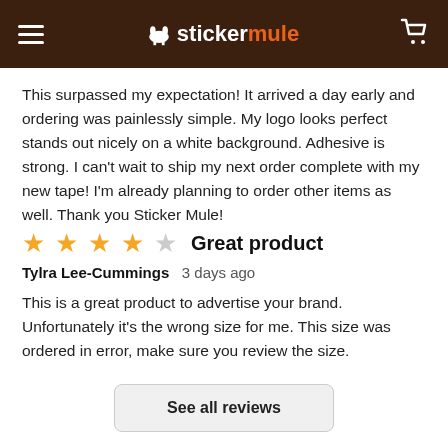stickermule
This surpassed my expectation! It arrived a day early and ordering was painlessly simple. My logo looks perfect stands out nicely on a white background. Adhesive is strong. I can't wait to ship my next order complete with my new tape! I'm already planning to order other items as well. Thank you Sticker Mule!
Great product
Tylra Lee-Cummings   3 days ago
This is a great product to advertise your brand. Unfortunately it's the wrong size for me. This size was ordered in error, make sure you review the size.
See all reviews